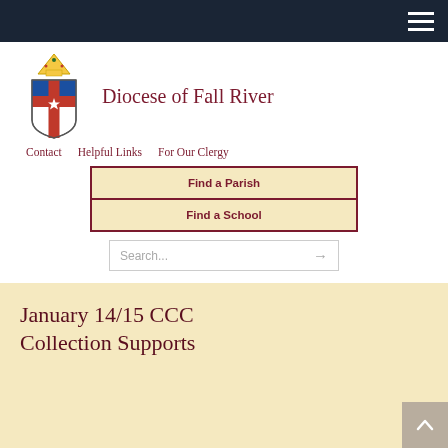Diocese of Fall River
Contact   Helpful Links   For Our Clergy
Find a Parish
Find a School
Search...
January 14/15 CCC Collection Supports